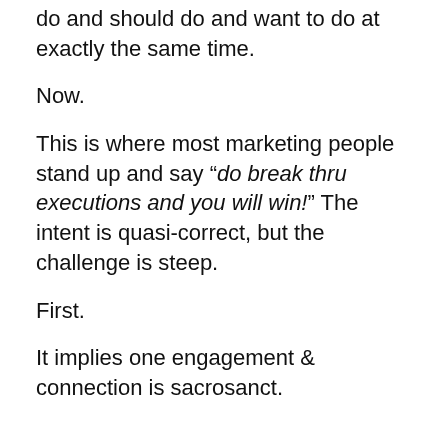do and should do and want to do at exactly the same time.
Now.
This is where most marketing people stand up and say “do break thru executions and you will win!” The intent is quasi-correct, but the challenge is steep.
First.
It implies one engagement & connection is sacrosanct.